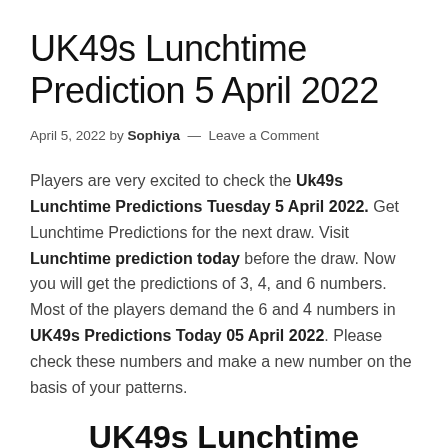UK49s Lunchtime Prediction 5 April 2022
April 5, 2022 by Sophiya — Leave a Comment
Players are very excited to check the Uk49s Lunchtime Predictions Tuesday 5 April 2022. Get Lunchtime Predictions for the next draw. Visit Lunchtime prediction today before the draw. Now you will get the predictions of 3, 4, and 6 numbers. Most of the players demand the 6 and 4 numbers in UK49s Predictions Today 05 April 2022. Please check these numbers and make a new number on the basis of your patterns.
UK49s Lunchtime